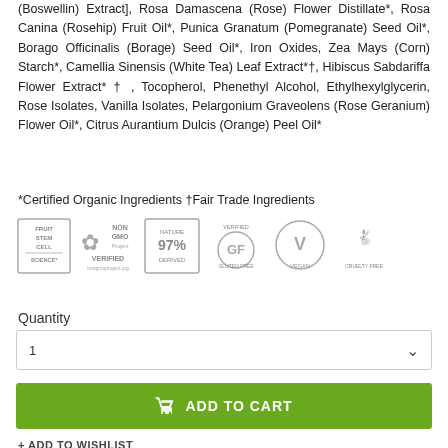(Boswellin) Extract], Rosa Damascena (Rose) Flower Distillate*, Rosa Canina (Rosehip) Fruit Oil*, Punica Granatum (Pomegranate) Seed Oil*, Borago Officinalis (Borage) Seed Oil*, Iron Oxides, Zea Mays (Corn) Starch*, Camellia Sinensis (White Tea) Leaf Extract*†, Hibiscus Sabdariffa Flower Extract* † , Tocopherol, Phenethyl Alcohol, Ethylhexylglycerin, Rose Isolates, Vanilla Isolates, Pelargonium Graveolens (Rose Geranium) Flower Oil*, Citrus Aurantium Dulcis (Orange) Peel Oil*
*Certified Organic Ingredients †Fair Trade Ingredients
[Figure (logo): Six certification logos: Fruit Stem Cell Science, Non-GMO Project Verified, Nature 97% Derived, Verified Gluten Free, Vegan, Cruelty Free]
Quantity
1
ADD TO CART
+ ADD TO WISHLIST